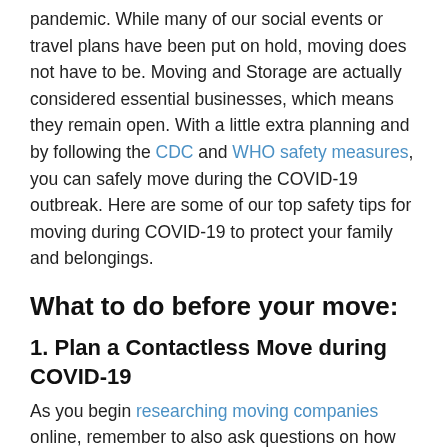pandemic. While many of our social events or travel plans have been put on hold, moving does not have to be. Moving and Storage are actually considered essential businesses, which means they remain open. With a little extra planning and by following the CDC and WHO safety measures, you can safely move during the COVID-19 outbreak. Here are some of our top safety tips for moving during COVID-19 to protect your family and belongings.
What to do before your move:
1. Plan a Contactless Move during COVID-19
As you begin researching moving companies online, remember to also ask questions on how they are